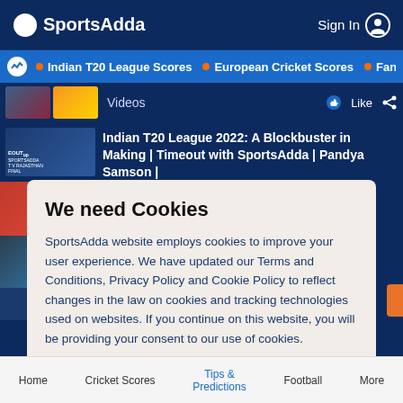SportsAdda | Sign In
Indian T20 League Scores • European Cricket Scores • Fantasy C
Videos Like
Indian T20 League 2022: A Blockbuster in Making | Timeout with SportsAdda | Pandya Samson |
We need Cookies
SportsAdda website employs cookies to improve your user experience. We have updated our Terms and Conditions, Privacy Policy and Cookie Policy to reflect changes in the law on cookies and tracking technologies used on websites. If you continue on this website, you will be providing your consent to our use of cookies.
Agree
Home   Cricket Scores   Tips & Predictions   Football   More